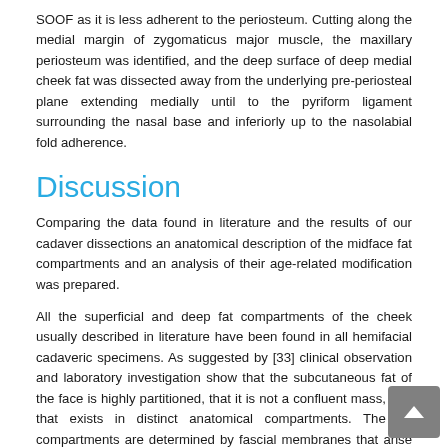SOOF as it is less adherent to the periosteum. Cutting along the medial margin of zygomaticus major muscle, the maxillary periosteum was identified, and the deep surface of deep medial cheek fat was dissected away from the underlying pre-periosteal plane extending medially until to the pyriform ligament surrounding the nasal base and inferiorly up to the nasolabial fold adherence.
Discussion
Comparing the data found in literature and the results of our cadaver dissections an anatomical description of the midface fat compartments and an analysis of their age-related modification was prepared.
All the superficial and deep fat compartments of the cheek usually described in literature have been found in all hemifacial cadaveric specimens. As suggested by [33] clinical observation and laboratory investigation show that the subcutaneous fat of the face is highly partitioned, that it is not a confluent mass, and that exists in distinct anatomical compartments. The fat compartments are determined by fascial membranes that arise from the superficial fascia and insert into the dermis of the skin [17,25].